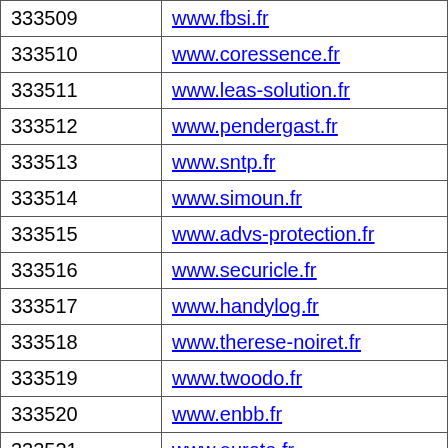| ID | URL |
| --- | --- |
| 333509 | www.fbsi.fr |
| 333510 | www.coressence.fr |
| 333511 | www.leas-solution.fr |
| 333512 | www.pendergast.fr |
| 333513 | www.sntp.fr |
| 333514 | www.simoun.fr |
| 333515 | www.advs-protection.fr |
| 333516 | www.securicle.fr |
| 333517 | www.handylog.fr |
| 333518 | www.therese-noiret.fr |
| 333519 | www.twoodo.fr |
| 333520 | www.enbb.fr |
| 333521 | www.euroto.fr |
| 333522 | www.depoid.fr |
| 333523 | www.domendi.fr |
| 333524 | www.aivetec.fr |